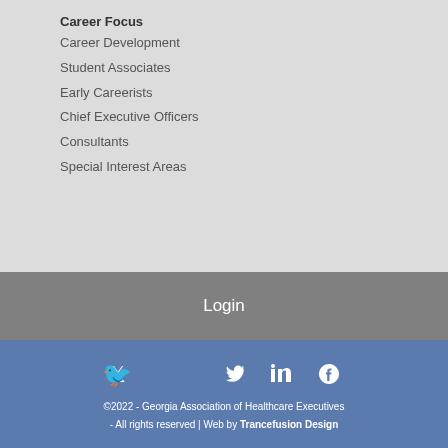Career Focus
Career Development
Student Associates
Early Careerists
Chief Executive Officers
Consultants
Special Interest Areas
Login
[Figure (other): Social media icons: Twitter, LinkedIn, Facebook]
©2022 - Georgia Association of Healthcare Executives - All rights reserved | Web by Trancefusion Design